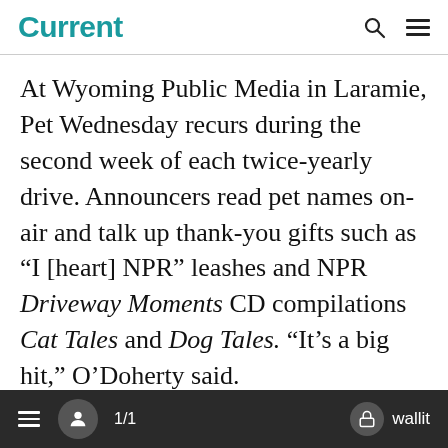Current
At Wyoming Public Media in Laramie, Pet Wednesday recurs during the second week of each twice-yearly drive. Announcers read pet names on-air and talk up thank-you gifts such as “I [heart] NPR” leashes and NPR Driveway Moments CD compilations Cat Tales and Dog Tales. “It’s a big hit,” O’Doherty said.
The pledge event has consistently bolstered listener responses to WPM’s midweek fundraising appeals during the past three
1/1  wallit